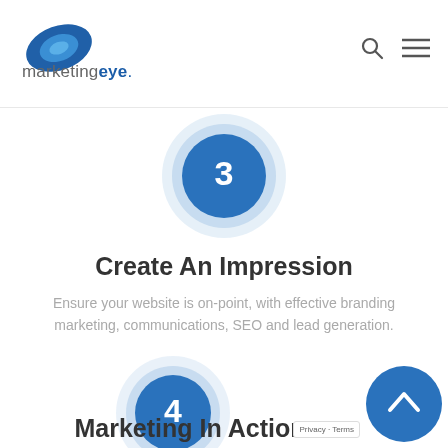marketingeye
[Figure (illustration): Step 3 circle icon with concentric blue rings and number 3 in center]
Create An Impression
Ensure your website is on-point, with effective branding marketing, communications, SEO and lead generation.
[Figure (illustration): Step 4 circle icon with concentric blue rings and number 4 in center]
Marketing In Action